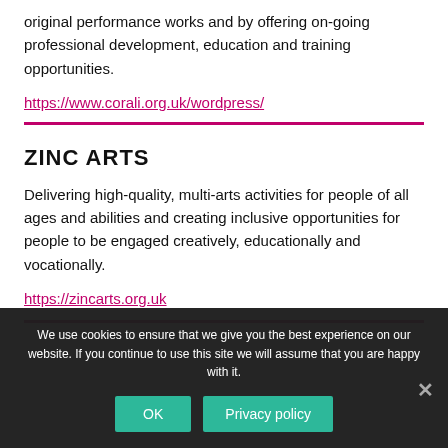original performance works and by offering on-going professional development, education and training opportunities.
https://www.corali.org.uk/wordpress/
ZINC ARTS
Delivering high-quality, multi-arts activities for people of all ages and abilities and creating inclusive opportunities for people to be engaged creatively, educationally and vocationally.
https://zincarts.org.uk
We use cookies to ensure that we give you the best experience on our website. If you continue to use this site we will assume that you are happy with it.